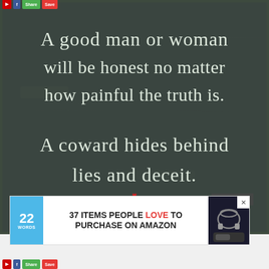[Figure (illustration): Chalkboard-style motivational quote image with white chalk-effect handwritten text on dark green/grey background. Text reads: 'A good man or woman will be honest no matter how painful the truth is. A coward hides behind lies and deceit.' with ilovemylti.com watermark and a red heart icon at the bottom.]
[Figure (screenshot): Advertisement banner for '22 Words' website showing '37 ITEMS PEOPLE LOVE TO PURCHASE ON AMAZON' with blue circular logo showing '22 WORDS' and image of wireless headphones on dark background.]
ilovemylti.com